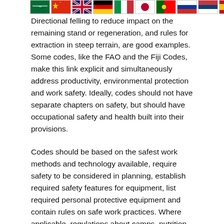[Figure (illustration): Row of country flags: Saudi Arabia, China, United Kingdom, Germany, Italy, Japan, Portugal, Russia, Serbia, Spain, Kenya]
result fr... Directional felling to reduce impact on the remaining stand or regeneration, and rules for extraction in steep terrain, are good examples. Some codes, like the FAO and the Fiji Codes, make this link explicit and simultaneously address productivity, environmental protection and work safety. Ideally, codes should not have separate chapters on safety, but should have occupational safety and health built into their provisions.
Codes should be based on the safest work methods and technology available, require safety to be considered in planning, establish required safety features for equipment, list required personal protective equipment and contain rules on safe work practices. Where applicable, regulations about camps, nutrition and worker transport should also be included. Safety considerations should also be reflected in rules about supervision and training.
Codes can be voluntary and be adopted as mandatory by groups of companies or the forestry sector of a country as a